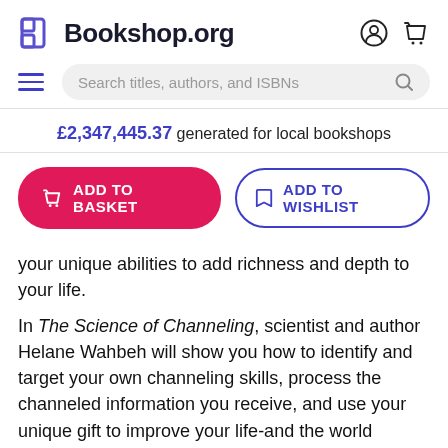Bookshop.org
Search titles, authors, and ISBNs
£2,347,445.37 generated for local bookshops
ADD TO BASKET
ADD TO WISHLIST
your unique abilities to add richness and depth to your life.
In The Science of Channeling, scientist and author Helane Wahbeh will show you how to identify and target your own channeling skills, process the channeled information you receive, and use your unique gift to improve your life-and the world around you. You'll find detailed information about different channeling types,